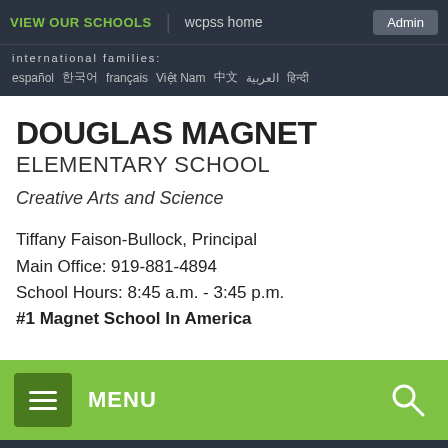VIEW OUR SCHOOLS   wcpss home   Admin
international families:
español  한국어  français  Việt Nam  中文  العربية  हिन्दी
DOUGLAS MAGNET ELEMENTARY SCHOOL
Creative Arts and Science
Tiffany Faison-Bullock, Principal
Main Office: 919-881-4894
School Hours: 8:45 a.m. - 3:45 p.m.
#1 Magnet School In America
MENU